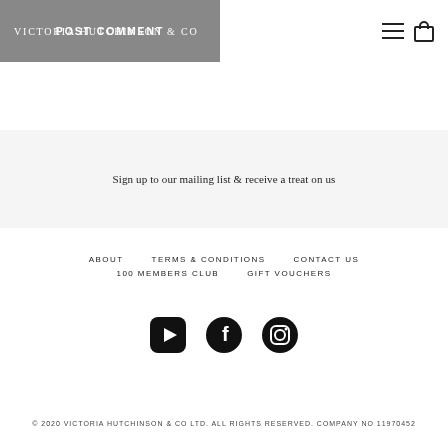VICTORIA HUTCHINSON & CO
POST COMMENT
Sign up to our mailing list & receive a treat on us
ABOUT
TERMS & CONDITIONS
CONTACT US
100 MEMBERS CLUB
GIFT VOUCHERS
[Figure (logo): YouTube, Facebook, Instagram social media icons]
© 2020 VICTORIA HUTCHINSON & CO LTD. ALL RIGHTS RESERVED. COMPANY NO 11970452